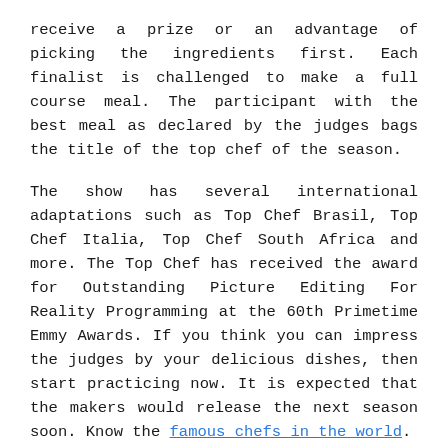receive a prize or an advantage of picking the ingredients first. Each finalist is challenged to make a full course meal. The participant with the best meal as declared by the judges bags the title of the top chef of the season.
The show has several international adaptations such as Top Chef Brasil, Top Chef Italia, Top Chef South Africa and more. The Top Chef has received the award for Outstanding Picture Editing For Reality Programming at the 60th Primetime Emmy Awards. If you think you can impress the judges by your delicious dishes, then start practicing now. It is expected that the makers would release the next season soon. Know the famous chefs in the world.
9. Shark Tank